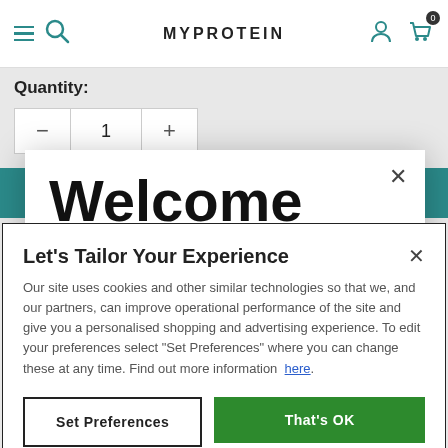MYPROTEIN
Quantity:
Welcome
It looks like you are in the USA, would you like to
Let's Tailor Your Experience
Our site uses cookies and other similar technologies so that we, and our partners, can improve operational performance of the site and give you a personalised shopping and advertising experience. To edit your preferences select “Set Preferences” where you can change these at any time. Find out more information here.
Set Preferences
That's OK